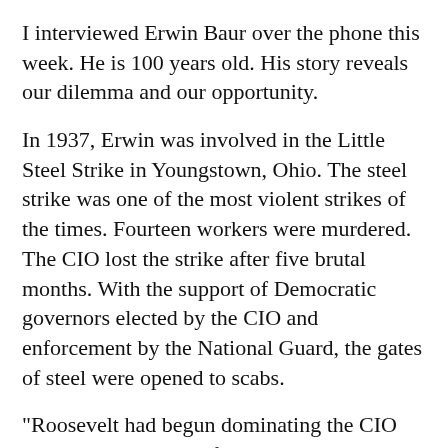I interviewed Erwin Baur over the phone this week. He is 100 years old. His story reveals our dilemma and our opportunity.
In 1937, Erwin was involved in the Little Steel Strike in Youngstown, Ohio. The steel strike was one of the most violent strikes of the times. Fourteen workers were murdered. The CIO lost the strike after five brutal months. With the support of Democratic governors elected by the CIO and enforcement by the National Guard, the gates of steel were opened to scabs.
"Roosevelt had begun dominating the CIO and breaking it away from John L. Lewis's more independent, militant stance," Baur said. "It began the process of the CIO's dependence on the Democrats to win their battles for them instead of relying on the rank and file."
Erwin lost his job at Youngstown Sheet and Tube as a